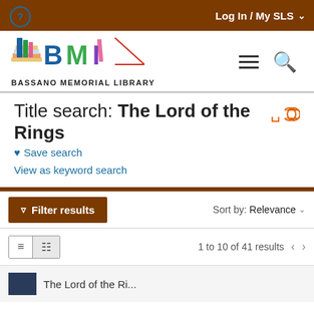Log In / My SLS
[Figure (logo): Bassano Memorial Library logo with colorful stylized BML letters and stacked books]
Title search: The Lord of the Rings
Save search
View as keyword search
Filter results  Sort by: Relevance
1 to 10 of 41 results